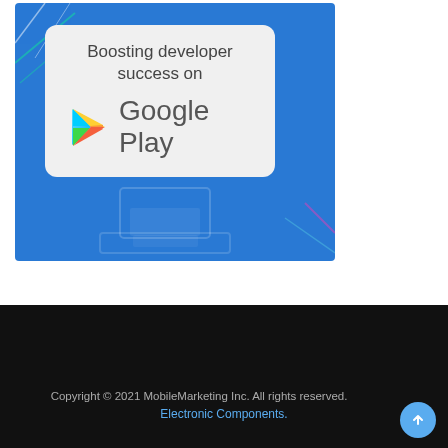[Figure (screenshot): Google Play promotional image with blue background showing a white card reading 'Boosting developer success on Google Play' with the Google Play logo (colorful triangle) next to the text 'Google Play'. Below the card are faint laptop/screen outlines.]
Copyright © 2021 MobileMarketing Inc. All rights reserved. Electronic Components.